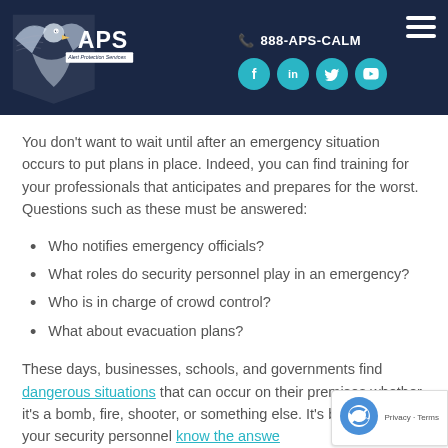[Figure (logo): APS Alert Protection Services logo with eagle graphic and text, header with phone number 888-APS-CALM, social media icons (Facebook, LinkedIn, Twitter, YouTube), and hamburger menu on dark navy background]
You don't want to wait until after an emergency situation occurs to put plans in place. Indeed, you can find training for your professionals that anticipates and prepares for the worst. Questions such as these must be answered:
Who notifies emergency officials?
What roles do security personnel play in an emergency?
Who is in charge of crowd control?
What about evacuation plans?
These days, businesses, schools, and governments find dangerous situations that can occur on their premises whether it's a bomb, fire, shooter, or something else. It's best to have your security personnel know the answers to